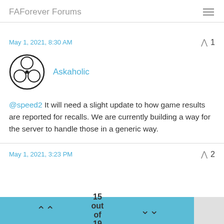FAForever Forums
May 1, 2021, 8:30 AM
Askaholic
@speed2 It will need a slight update to how game results are reported for recalls. We are currently building a way for the server to handle those in a generic way.
May 1, 2021, 3:23 PM
15 out of 19